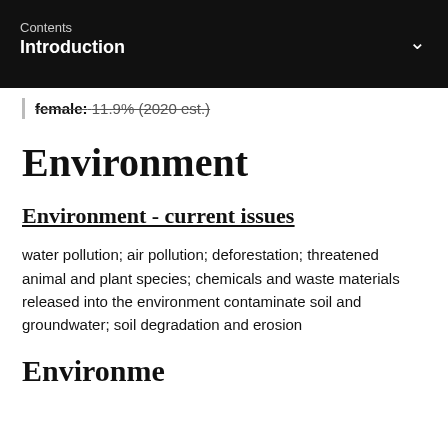Contents
Introduction
female: 11.9% (2020 est.)
Environment
Environment - current issues
water pollution; air pollution; deforestation; threatened animal and plant species; chemicals and waste materials released into the environment contaminate soil and groundwater; soil degradation and erosion
Environment - international agr...